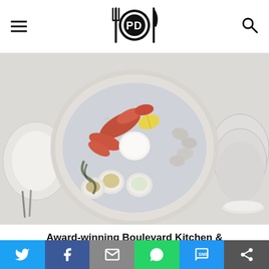[Figure (logo): PD food blog logo with fork and knife icons around a circle containing letters PD]
[Figure (photo): Overhead view of a seafood platter on ice with lobster, oysters, lemon, and small bowls of sauces on a restaurant table]
Award-winning Boulevard Kitchen & Oyster Bar perfects the signature seafood
[Figure (infographic): Social share bar with Twitter, Facebook, Email, WhatsApp, SMS, and More buttons]